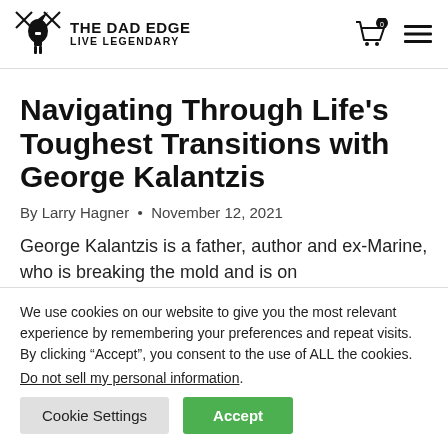THE DAD EDGE LIVE LEGENDARY
Navigating Through Life’s Toughest Transitions with George Kalantzis
By Larry Hagner • November 12, 2021
George Kalantzis is a father, author and ex-Marine, who is breaking the mold and is on
We use cookies on our website to give you the most relevant experience by remembering your preferences and repeat visits. By clicking “Accept”, you consent to the use of ALL the cookies. Do not sell my personal information.